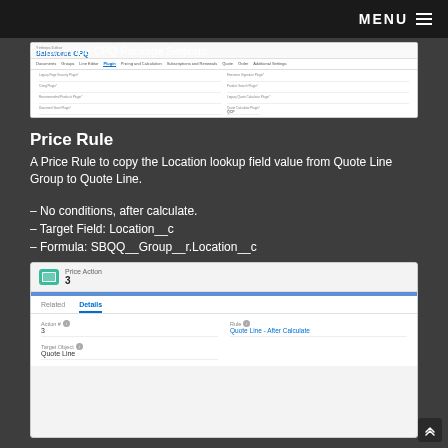MENU
Plugin in the CPQ Package Settings.
[Figure (screenshot): Salesforce CPQ Package Settings screen showing the Plugin tab selected with various plugin fields including Quote Calculator Plugin set to 'QCP']
Price Rule
A Price Rule to copy the Location lookup field value from Quote Line Group to Quote Line.
– No conditions, after calculate.
– Target Field: Location__c
– Formula: SBQQ__Group__r.Location__c
[Figure (screenshot): Price Action 3 record detail showing Related and Details tabs with Action # = 3, Rule = Quote Line - After Calculate, Target Object = Quote Line]